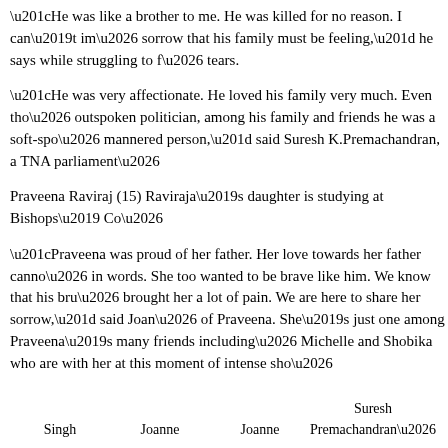“He was like a brother to me. He was killed for no reason. I can’t im… sorrow that his family must be feeling,” he says while struggling to f… tears.
“He was very affectionate. He loved his family very much. Even tho… outspoken politician, among his family and friends he was a soft-spo… mannered person,” said Suresh K.Premachandran, a TNA parliament…
Praveena Raviraj (15) Raviraja’s daughter is studying at Bishops’ Co…
“Praveena was proud of her father. Her love towards her father canno… in words. She too wanted to be brave like him. We know that his bru… brought her a lot of pain. We are here to share her sorrow,” said Joan… of Praveena. She’s just one among Praveena’s many friends including… Michelle and Shobika who are with her at this moment of intense sho…
Singh    Joanne    Joanne    Suresh Premachandran…